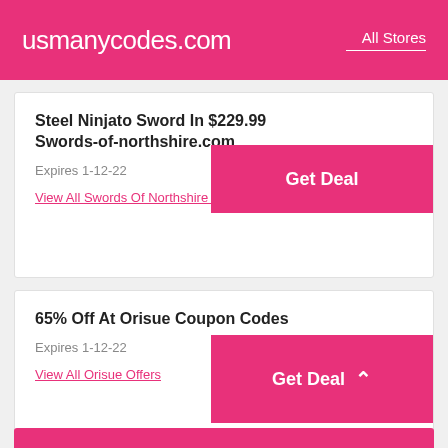usmanycodes.com  All Stores
Steel Ninjato Sword In $229.99 Swords-of-northshire.com
Expires 1-12-22
Get Deal
View All Swords Of Northshire Offers
65% Off At Orisue Coupon Codes
Expires 1-12-22
Get Deal
View All Orisue Offers